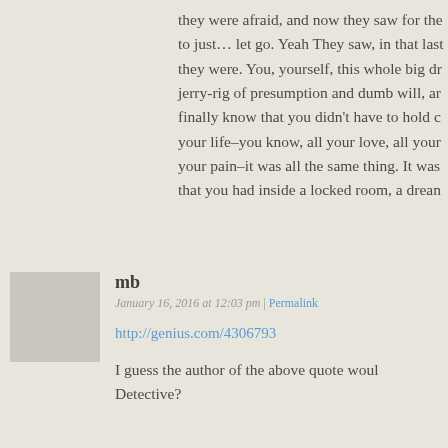they were afraid, and now they saw for the to just… let go. Yeah They saw, in that last they were. You, yourself, this whole big dr jerry-rig of presumption and dumb will, ar finally know that you didn't have to hold c your life–you know, all your love, all your your pain–it was all the same thing. It was that you had inside a locked room, a drean
[Figure (other): Grey placeholder avatar square for commenter 'mb']
mb
January 16, 2016 at 12:03 pm | Permalink
http://genius.com/4306793
I guess the author of the above quote woul Detective?